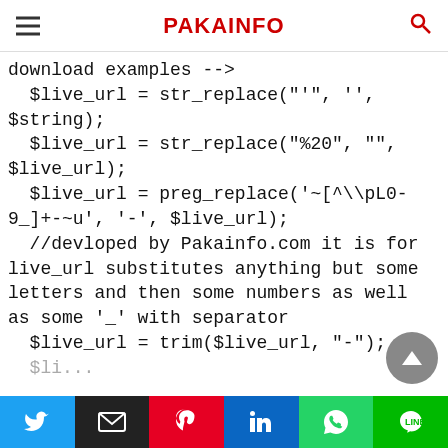PAKAINFO
download examples -->
 $live_url = str_replace("''", '',
$string);
 $live_url = str_replace("%20", "",
$live_url);
 $live_url = preg_replace('~[^\\pL0-
9_]+-~u', '-', $live_url);
 //devloped by Pakainfo.com it is for
live_url substitutes anything but some
letters and then some numbers as well
as some '_' with separator
 $live_url = trim($live_url, "-");
Twitter | Email | Pinterest | LinkedIn | WhatsApp | Line